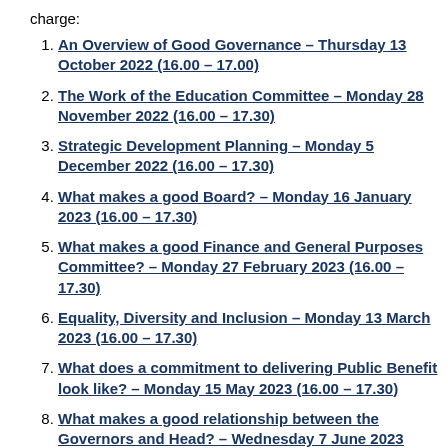charge:
An Overview of Good Governance – Thursday 13 October 2022 (16.00 – 17.00)
The Work of the Education Committee – Monday 28 November 2022 (16.00 – 17.30)
Strategic Development Planning – Monday 5 December 2022 (16.00 – 17.30)
What makes a good Board? – Monday 16 January 2023 (16.00 – 17.30)
What makes a good Finance and General Purposes Committee? – Monday 27 February 2023 (16.00 – 17.30)
Equality, Diversity and Inclusion – Monday 13 March 2023 (16.00 – 17.30)
What does a commitment to delivering Public Benefit look like? – Monday 15 May 2023 (16.00 – 17.30)
What makes a good relationship between the Governors and Head? – Wednesday 7 June 2023 (16.00 – 17.30)
Individual modules are available as discrete stand-alone